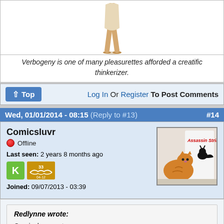[Figure (illustration): Partial view of a figure/person, lower portion visible, showing legs and feet]
Verbogeny is one of many pleasurettes afforded a creatific thinkerizer.
Top | Log In Or Register To Post Comments
Wed, 01/01/2014 - 08:15 (Reply to #13) #14
Comicsluvr
Offline
Last seen: 2 years 8 months ago
Joined: 09/07/2013 - 03:39
[Figure (photo): Photo of an orange cat looking at a white toilet/wall with a black cat silhouette graphic and text 'Assassin Strike']
Redlynne wrote:
Comicsluvr wrote:
Redline: Speedster, craves going faster
I see what you did there ...